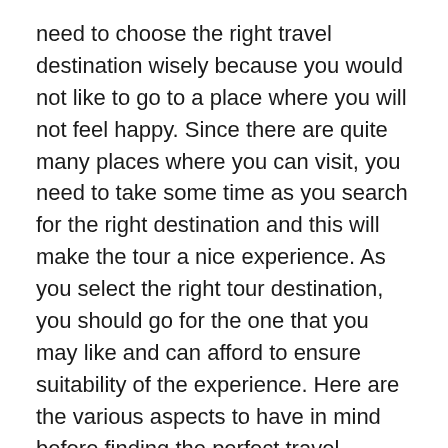need to choose the right travel destination wisely because you would not like to go to a place where you will not feel happy. Since there are quite many places where you can visit, you need to take some time as you search for the right destination and this will make the tour a nice experience. As you select the right tour destination, you should go for the one that you may like and can afford to ensure suitability of the experience. Here are the various aspects to have in mind before finding the perfect travel destination to spend your holiday with your family and friends.
To begin with, you should determine the time that you would like to spend on the vacation because there are some destinations that can suit you in any way. As you choose the vacation depending on time, you are supposed to go to the places that are nearing you, and so you will take all the time traveling and so the vacation